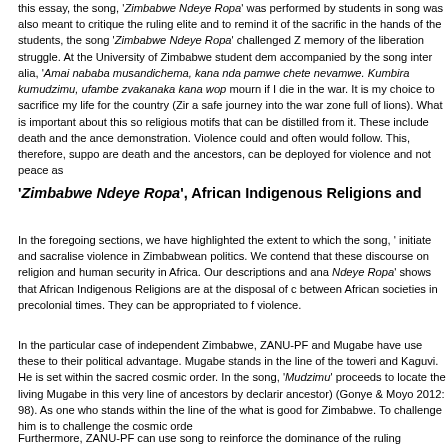this essay, the song, 'Zimbabwe Ndeye Ropa' was performed by students in song was also meant to critique the ruling elite and to remind it of the sacrific in the hands of the students, the song 'Zimbabwe Ndeye Ropa' challenged Z memory of the liberation struggle. At the University of Zimbabwe student dem accompanied by the song inter alia, 'Amai nababa musandichema, kana nda pamwe chete nevamwe. Kumbira kumudzimu, ufambe zvakanaka kana wop mourn if I die in the war. It is my choice to sacrifice my life for the country (Zir a safe journey into the war zone full of lions). What is important about this so religious motifs that can be distilled from it. These include death and the ance demonstration. Violence could and often would follow. This, therefore, suppo are death and the ancestors, can be deployed for violence and not peace as
'Zimbabwe Ndeye Ropa', African Indigenous Religions and
In the foregoing sections, we have highlighted the extent to which the song, ' initiate and sacralise violence in Zimbabwean politics. We contend that these discourse on religion and human security in Africa. Our descriptions and ana Ndeye Ropa' shows that African Indigenous Religions are at the disposal of c between African societies in precolonial times. They can be appropriated to f violence.
In the particular case of independent Zimbabwe, ZANU-PF and Mugabe have use these to their political advantage. Mugabe stands in the line of the toweri and Kaguvi. He is set within the sacred cosmic order. In the song, 'Mudzimu proceeds to locate the living Mugabe in this very line of ancestors by declarir ancestor) (Gonye & Moyo 2012: 98). As one who stands within the line of the what is good for Zimbabwe. To challenge him is to challenge the cosmic orde
Furthermore, ZANU-PF can use song to reinforce the dominance of the ruling